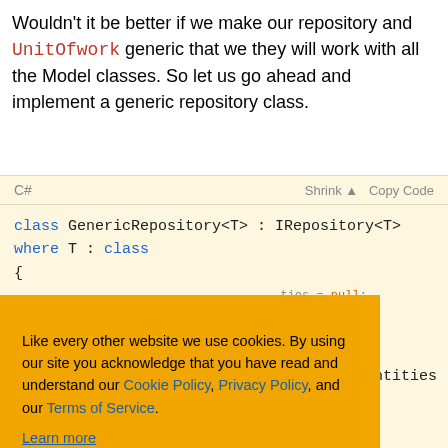Wouldn't it be better if we make our repository and UnitOfwork generic that we they will work with all the Model classes. So let us go ahead and implement a generic repository class.
[Figure (screenshot): C# code block showing class GenericRepository<T> : IRepository<T> where T : class with syntax highlighting on yellow background, with cookie consent popup overlaid]